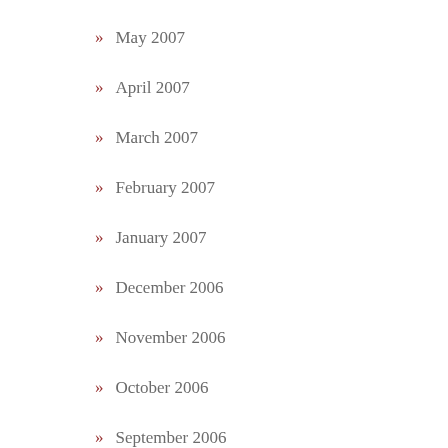May 2007
April 2007
March 2007
February 2007
January 2007
December 2006
November 2006
October 2006
September 2006